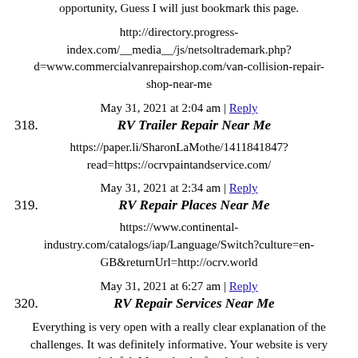opportunity, Guess I will just bookmark this page.
http://directory.progress-index.com/__media__/js/netsoltrademark.php?d=www.commercialvanrepairshop.com/van-collision-repair-shop-near-me
May 31, 2021 at 2:04 am | Reply
318. RV Trailer Repair Near Me
https://paper.li/SharonLaMothe/1411841847?read=https://ocrvpaintandservice.com/
May 31, 2021 at 2:34 am | Reply
319. RV Repair Places Near Me
https://www.continental-industry.com/catalogs/iap/Language/Switch?culture=en-GB&returnUrl=http://ocrv.world
May 31, 2021 at 6:27 am | Reply
320. RV Repair Services Near Me
Everything is very open with a really clear explanation of the challenges. It was definitely informative. Your website is very helpful. Many thanks for sharing!